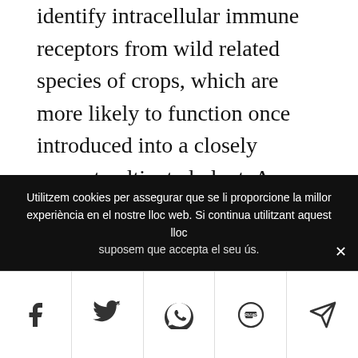identify intracellular immune receptors from wild related species of crops, which are more likely to function once introduced into a closely current cultivated plant. An alternative way to overcome this problem might be through the direct redesign of endogenous immune receptors of a crop to expand their recognition capabilities. In this regard, a synthetically modified version of a potato intracellular immune receptor
Utilitzem cookies per assegurar que se li proporcione la millor experiència en el nostre lloc web. Si continua utilitzant aquest lloc suposem que accepta el seu ús.
[Figure (other): Social share bar with icons for Facebook, Twitter, WhatsApp, SMS, and Telegram/send]